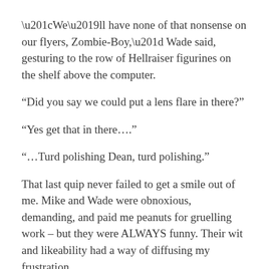“We’ll have none of that nonsense on our flyers, Zombie-Boy,” Wade said, gesturing to the row of Hellraiser figurines on the shelf above the computer.
“Did you say we could put a lens flare in there?”
“Yes get that in there….”
“…Turd polishing Dean, turd polishing.”
That last quip never failed to get a smile out of me. Mike and Wade were obnoxious, demanding, and paid me peanuts for gruelling work – but they were ALWAYS funny. Their wit and likeability had a way of diffusing my frustration.
Things often went wrong, largely due to my very limited skill-set, and the subpar equipment in use.